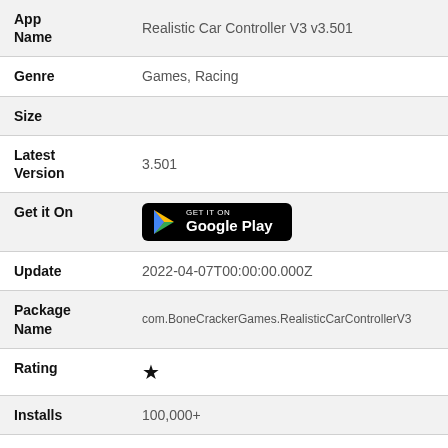| Field | Value |
| --- | --- |
| App Name | Realistic Car Controller V3 v3.501 |
| Genre | Games, Racing |
| Size |  |
| Latest Version | 3.501 |
| Get it On | Google Play |
| Update | 2022-04-07T00:00:00.000Z |
| Package Name | com.BoneCrackerGames.RealisticCarControllerV3 |
| Rating | ★ |
| Installs | 100,000+ |